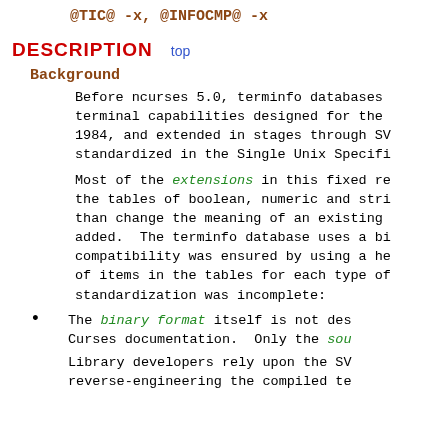@TIC@ -x, @INFOCMP@ -x
DESCRIPTION
Background
Before ncurses 5.0, terminfo databases terminal capabilities designed for the 1984, and extended in stages through SV standardized in the Single Unix Specifi
Most of the extensions in this fixed re the tables of boolean, numeric and stri than change the meaning of an existing added.  The terminfo database uses a bi compatibility was ensured by using a he of items in the tables for each type of standardization was incomplete:
The binary format itself is not des Curses documentation.  Only the sou
Library developers rely upon the SV reverse-engineering the compiled te